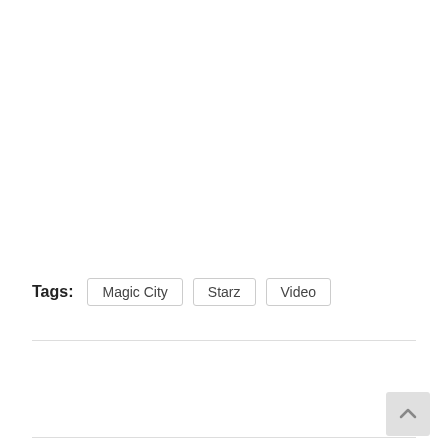Tags: Magic City  Starz  Video
0
SHARES
[Figure (infographic): Social share buttons: Facebook (dark blue, f icon), Twitter (light blue, bird icon), Google+ (red, g+ icon), LinkedIn (teal blue, in icon). Share count shows 0 SHARES on the left side. Scroll-to-top button at bottom right.]